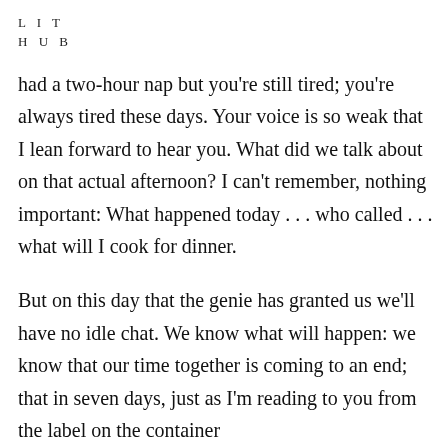L I T
H U B
had a two-hour nap but you're still tired; you're always tired these days. Your voice is so weak that I lean forward to hear you. What did we talk about on that actual afternoon? I can't remember, nothing important: What happened today . . . who called . . . what will I cook for dinner.
But on this day that the genie has granted us we'll have no idle chat. We know what will happen: we know that our time together is coming to an end; that in seven days, just as I'm reading to you from the label on the container